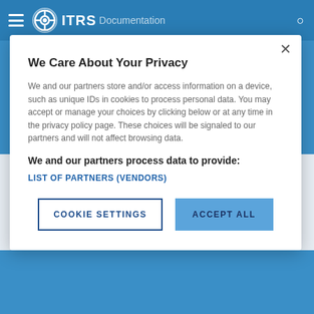[Figure (screenshot): ITRS Documentation website header bar with hamburger menu, gear logo, ITRS branding, and search icon on blue background]
We Care About Your Privacy
We and our partners store and/or access information on a device, such as unique IDs in cookies to process personal data. You may accept or manage your choices by clicking below or at any time in the privacy policy page. These choices will be signaled to our partners and will not affect browsing data.
We and our partners process data to provide:
LIST OF PARTNERS (VENDORS)
COOKIE SETTINGS
ACCEPT ALL
The collection task does not repeat
If the task was set up as an ad-hoc task, then it can only